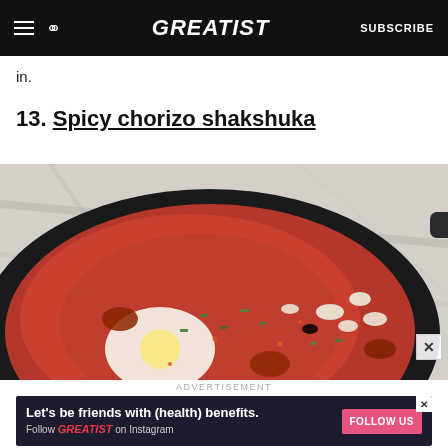GREATIST | SUBSCRIBE
in.
13. Spicy chorizo shakshuka
[Figure (photo): Overhead photo of spicy chorizo shakshuka in a dark cast iron skillet on a marble surface. The dish shows eggs poached in tomato and chorizo sauce, topped with crumbled white cheese, chopped herbs, and red pepper flakes.]
ADVERTISEMENT
Let's be friends with (health) benefits. Follow GREATIST on Instagram